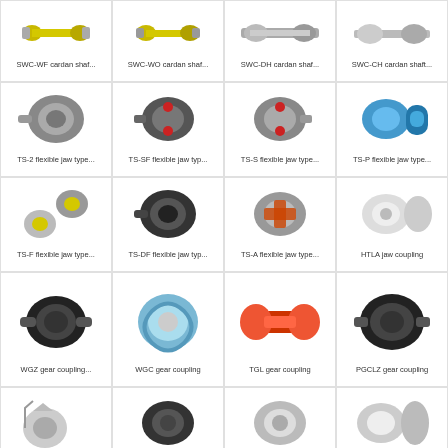[Figure (photo): Grid of mechanical coupling and shaft product photos with labels]
SWC-WF cardan shaf...
SWC-WO cardan shaf...
SWC-DH cardan shaf...
SWC-CH cardan shaft...
TS-2 flexible jaw type...
TS-SF flexible jaw typ...
TS-S flexible jaw type...
TS-P flexible jaw type...
TS-F flexible jaw type...
TS-DF flexible jaw typ...
TS-A flexible jaw type...
HTLA jaw coupling
WGZ gear coupling...
WGC gear coupling
TGL gear coupling
PGCLZ gear coupling